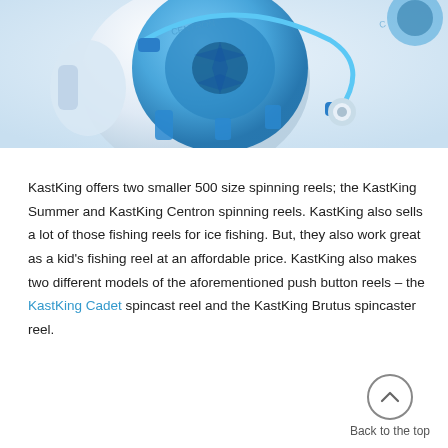[Figure (photo): Close-up photo of a blue and white KastKing spinning fishing reel with blue fishing line wound on the spool, shown against a light background.]
KastKing offers two smaller 500 size spinning reels; the KastKing Summer and KastKing Centron spinning reels. KastKing also sells a lot of those fishing reels for ice fishing. But, they also work great as a kid's fishing reel at an affordable price. KastKing also makes two different models of the aforementioned push button reels – the KastKing Cadet spincast reel and the KastKing Brutus spincaster reel.
Back to the top